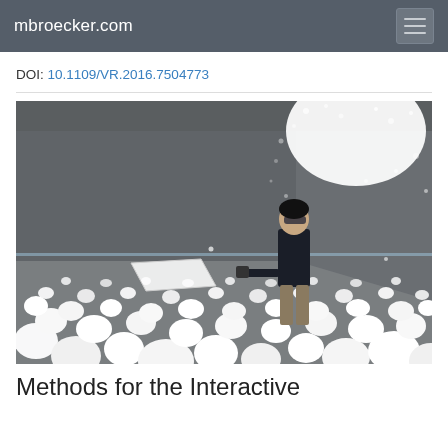mbroecker.com
DOI: 10.1109/VR.2016.7504773
[Figure (photo): A person standing in a room filled with white spherical balls scattered across the floor, wearing AR/VR glasses and holding a device. The room has dark grey walls with a projection of a bright white circular shape with particle effects on the ceiling/upper wall corner.]
Methods for the Interactive